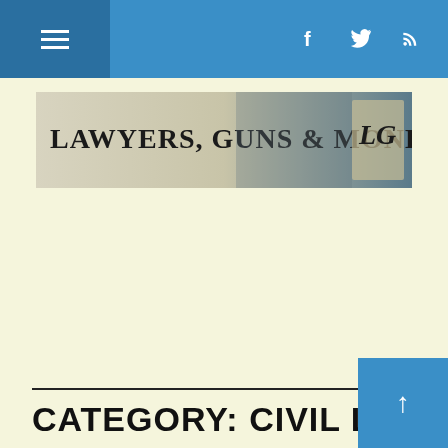Navigation bar with hamburger menu, Facebook, Twitter, and RSS icons
[Figure (logo): Lawyers, Guns & Money blog banner logo with text and decorative imagery]
CATEGORY: CIVIL LIBERTIES